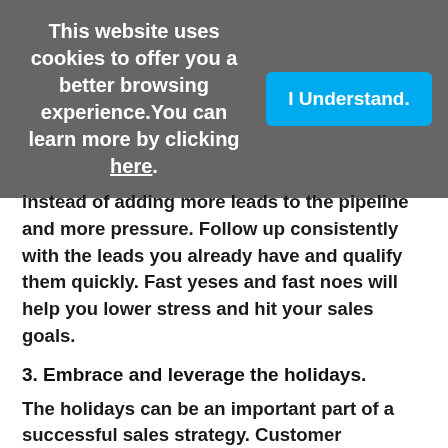This website uses cookies to offer you a better browsing experience. You can learn more by clicking here.
I Understand.
instead of adding more leads to the pipeline and more pressure. Follow up consistently with the leads you already have and qualify them quickly. Fast yeses and fast noes will help you lower stress and hit your sales goals.
3. Embrace and leverage the holidays.
The holidays can be an important part of a successful sales strategy. Customer appreciation and holiday events can lower stress and create sales opportunities. The holidays are already a time for festivities, vacations, and gift-giving, rather than